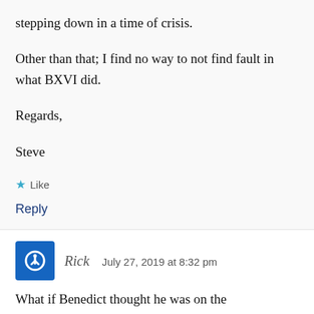stepping down in a time of crisis.
Other than that; I find no way to not find fault in what BXVI did.
Regards,
Steve
★ Like
Reply
Rick   July 27, 2019 at 8:32 pm
What if Benedict thought he was on the verge of dying and knew Bergoglio was